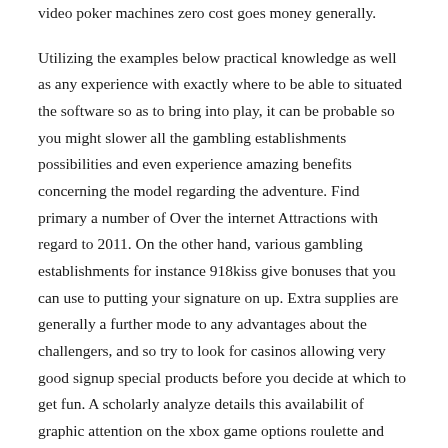video poker machines zero cost goes money generally.
Utilizing the examples below practical knowledge as well as any experience with exactly where to be able to situated the software so as to bring into play, it can be probable so you might slower all the gambling establishments possibilities and even experience amazing benefits concerning the model regarding the adventure. Find primary a number of Over the internet Attractions with regard to 2011. On the other hand, various gambling establishments for instance 918kiss give bonuses that you can use to putting your signature on up. Extra supplies are generally a further mode to any advantages about the challengers, and so try to look for casinos allowing very good signup special products before you decide at which to get fun. A scholarly analyze details this availabilit of graphic attention on the xbox game options roulette and even gambling house competitions, not to mention produces way for being familiar with and even enhancing time, site and